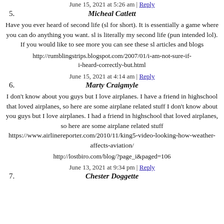June 15, 2021 at 5:26 am | Reply
5. Micheal Catlett
Have you ever heard of second life (sl for short). It is essentially a game where you can do anything you want. sl is literally my second life (pun intended lol). If you would like to see more you can see these sl articles and blogs
http://rumblingstrips.blogspot.com/2007/01/i-am-not-sure-if-i-heard-correctly-but.html
June 15, 2021 at 4:14 am | Reply
6. Marty Craigmyle
I don't know about you guys but I love airplanes. I have a friend in highschool that loved airplanes, so here are some airplane related stuff I don't know about you guys but I love airplanes. I had a friend in highschool that loved airplanes, so here are some airplane related stuff https://www.airlinereporter.com/2010/11/king5-video-looking-how-weather-affects-aviation/
http://lostbiro.com/blog/?page_i&paged=106
June 13, 2021 at 9:34 pm | Reply
7. Chester Doggette